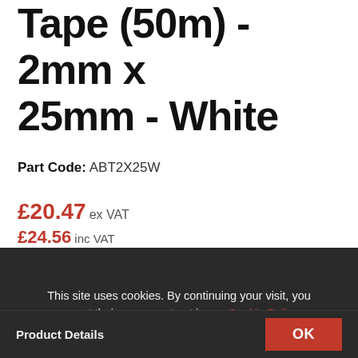Tape (50m) - 2mm x 25mm - White
Part Code: ABT2X25W
£20.47 ex VAT £24.56 inc VAT
This site uses cookies. By continuing your visit, you accept their use as set out in our Cookie Policy.
Product Details  OK